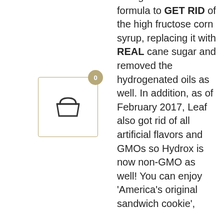[Figure (other): Shopping basket icon with gold/tan badge showing '0', inside a light-bordered square box]
rolling back the formula to GET RID of the high fructose corn syrup, replacing it with REAL cane sugar and removed the hydrogenated oils as well. In addition, as of February 2017, Leaf also got rid of all artificial flavors and GMOs so Hydrox is now non-GMO as well! You can enjoy 'America's original sandwich cookie',